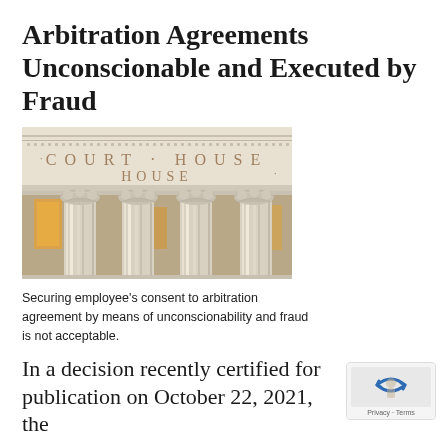Arbitration Agreements Unconscionable and Executed by Fraud
[Figure (photo): Photograph of a courthouse exterior showing ornate Corinthian columns and stone frieze engraved with 'COURT HOUSE']
Securing employee's consent to arbitration agreement by means of unconscionability and fraud is not acceptable.
In a decision recently certified for publication on October 22, 2021, the